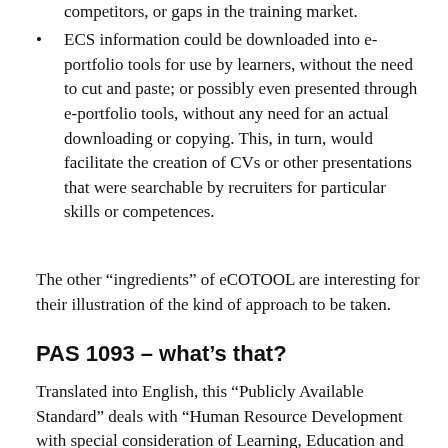competitors, or gaps in the training market.
ECS information could be downloaded into e-portfolio tools for use by learners, without the need to cut and paste; or possibly even presented through e-portfolio tools, without any need for an actual downloading or copying. This, in turn, would facilitate the creation of CVs or other presentations that were searchable by recruiters for particular skills or competences.
The other “ingredients” of eCOTOOL are interesting for their illustration of the kind of approach to be taken.
PAS 1093 – what’s that?
Translated into English, this “Publicly Available Standard” deals with “Human Resource Development with special consideration of Learning, Education and Training – Competence Modelling in Human Resource